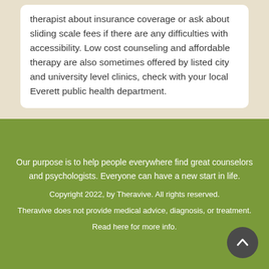therapist about insurance coverage or ask about sliding scale fees if there are any difficulties with accessibility. Low cost counseling and affordable therapy are also sometimes offered by listed city and university level clinics, check with your local Everett public health department.
Our purpose is to help people everywhere find great counselors and psychologists. Everyone can have a new start in life.
Copyright 2022, by Theravive. All rights reserved.
Theravive does not provide medical advice, diagnosis, or treatment.
Read here for more info.